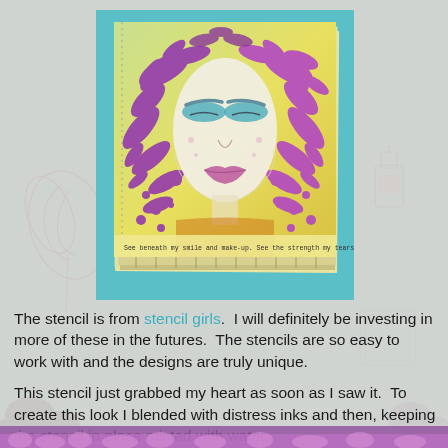[Figure (photo): Art journal page showing a stenciled woman's face with purple feather-like hair patterns and teal eye area, on a yellow-green background. The artwork has a handwritten text strip at the bottom. The piece sits on a teal background.]
The stencil is from stencil girls. I will definitely be investing in more of these in the futures. The stencils are so easy to work with and the designs are truly unique.
This stencil just grabbed my heart as soon as I saw it. To create this look I blended with distress inks and then, keeping the stencil.in place misted with water.